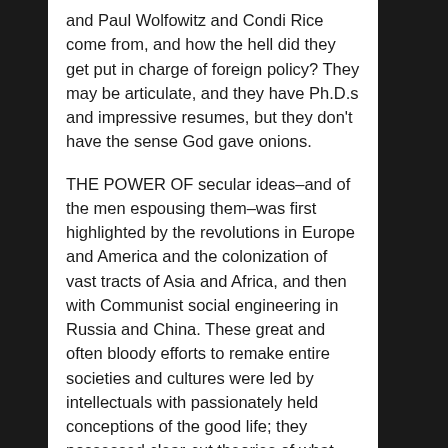and Paul Wolfowitz and Condi Rice come from, and how the hell did they get put in charge of foreign policy? They may be articulate, and they have Ph.D.s and impressive resumes, but they don't have the sense God gave onions.
THE POWER OF secular ideas–and of the men espousing them–was first highlighted by the revolutions in Europe and America and the colonization of vast tracts of Asia and Africa, and then with Communist social engineering in Russia and China. These great and often bloody efforts to remake entire societies and cultures were led by intellectuals with passionately held conceptions of the good life; they possessed clear-cut theories of what state and society should mean; and in place of traditional religion, which they had already